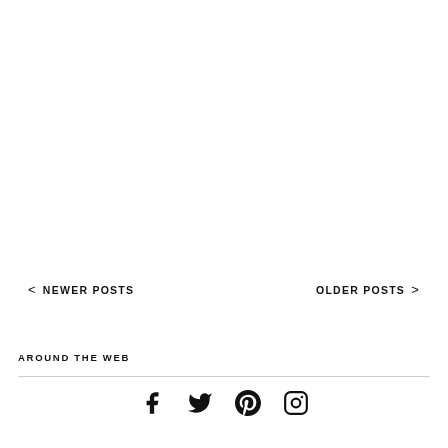< NEWER POSTS
OLDER POSTS >
AROUND THE WEB
[Figure (other): Social media icons: Facebook, Twitter, Pinterest, Instagram]